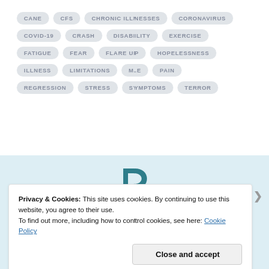[Figure (infographic): Tag cloud of health/illness related terms: CANE, CFS, CHRONIC ILLNESSES, CORONAVIRUS, COVID-19, CRASH, DISABILITY, EXERCISE, FATIGUE, FEAR, FLARE UP, HOPELESSNESS, ILLNESS, LIMITATIONS, M.E, PAIN, REGRESSION, STRESS, SYMPTOMS, TERROR — all shown as pill-shaped tags in grey on white background]
[Figure (logo): Partial logo letter 'D' in teal/dark cyan color, visible in light blue section]
Privacy & Cookies: This site uses cookies. By continuing to use this website, you agree to their use.
To find out more, including how to control cookies, see here: Cookie Policy
Close and accept